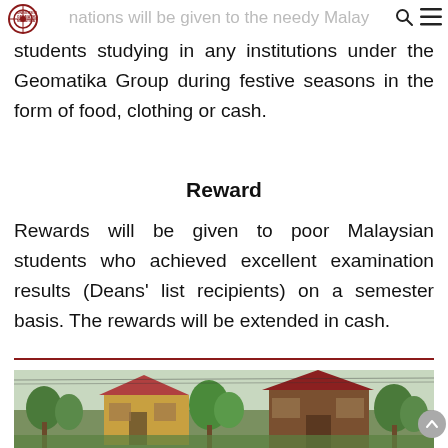Universiti Geomatika Malaysia
nations will be given to the needy Malaysian students studying in any institutions under the Geomatika Group during festive seasons in the form of food, clothing or cash.
Reward
Rewards will be given to poor Malaysian students who achieved excellent examination results (Deans' list recipients) on a semester basis. The rewards will be extended in cash.
[Figure (photo): Exterior photo of buildings with trees and tropical vegetation, appears to be campus or residential area]